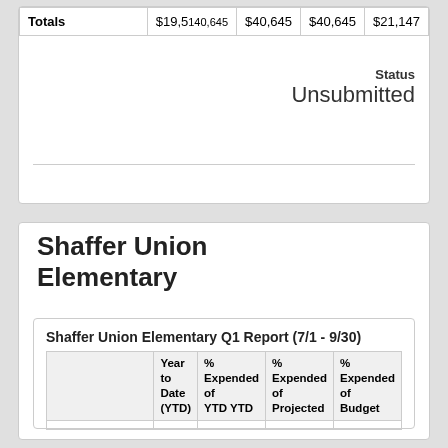|  | Year to Date (YTD) | % Expended of YTD | % Expended of Projected | % Expended of Budget |
| --- | --- | --- | --- | --- |
| Totals | $19,5140,645 | $40,645 | $40,645 | $21,147 |
Status
Unsubmitted
Shaffer Union Elementary
Shaffer Union Elementary Q1 Report (7/1 - 9/30)
|  | Year to Date (YTD) | % Expended of YTD YTD | % Expended of Projected | % Expended of Budget |
| --- | --- | --- | --- | --- |